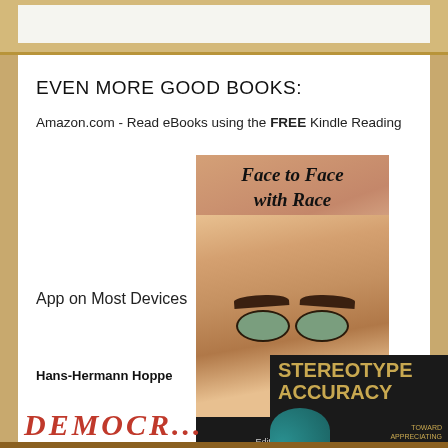EVEN MORE GOOD BOOKS:
Amazon.com - Read eBooks using the FREE Kindle Reading App on Most Devices
[Figure (photo): Book cover: 'Face to Face with Race', edited and with an introduction by Jared Taylor. Close-up face on cover.]
[Figure (photo): Book cover: 'Stereotype Accuracy: Toward Appreciating' with dark background and gold text]
Hans-Hermann Hoppe
DEMOCR... (partial text at bottom)